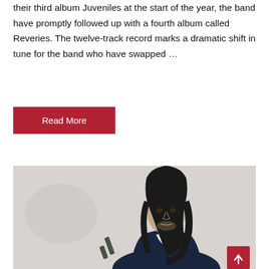their third album Juveniles at the start of the year, the band have promptly followed up with a fourth album called Reveries. The twelve-track record marks a dramatic shift in tune for the band who have swapped …
Read More
[Figure (photo): Young man with long dark hair wearing a dark navy blazer over a white shirt, photographed against a light gray/white background with some abstract shapes visible. He is looking directly at the camera with a serious expression.]